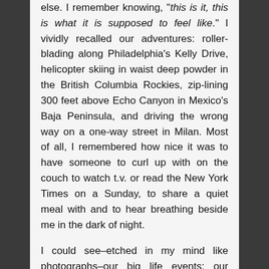else. I remember knowing, "this is it, this is what it is supposed to feel like." I vividly recalled our adventures: roller-blading along Philadelphia's Kelly Drive, helicopter skiing in waist deep powder in the British Columbia Rockies, zip-lining 300 feet above Echo Canyon in Mexico's Baja Peninsula, and driving the wrong way on a one-way street in Milan. Most of all, I remembered how nice it was to have someone to curl up with on the couch to watch t.v. or read the New York Times on a Sunday, to share a quiet meal with and to hear breathing beside me in the dark of night.
I could see–etched in my mind like photographs–our big life events: our wedding in front of family and friends on a hot humid September day in the garden of a small Inn,